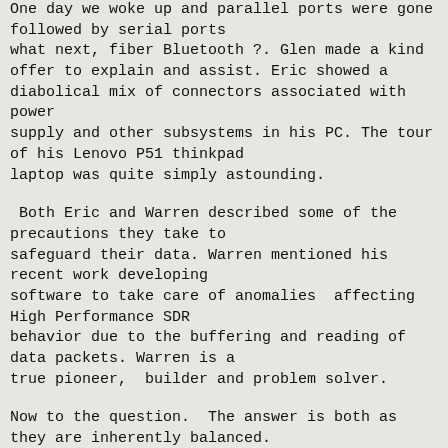One day we woke up and parallel ports were gone followed by serial ports
what next, fiber Bluetooth ?. Glen made a kind offer to explain and assist. Eric showed a diabolical mix of connectors associated with power
supply and other subsystems in his PC. The tour of his Lenovo P51 thinkpad
laptop was quite simply astounding.

 Both Eric and Warren described some of the precautions they take to
safeguard their data. Warren mentioned his recent work developing
software to take care of anomalies  affecting High Performance SDR
behavior due to the buffering and reading of data packets. Warren is a
true pioneer,  builder and problem solver.

Now to the question.  The answer is both as they are inherently balanced.
The twin lead is obvious but ideal coax will carry exactly differential E
and H fields internally ie balanced conditions. Consider a 50 Ohm